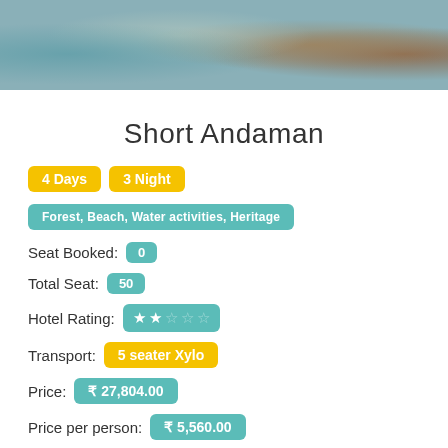[Figure (photo): Beach/ocean scene with rocks and water, top strip of the card]
Short Andaman
4 Days  3 Night
Forest, Beach, Water activities, Heritage
Seat Booked: 0
Total Seat: 50
Hotel Rating: ★★☆☆☆
Transport: 5 seater Xylo
Price: ₹ 27,804.00
Price per person: ₹ 5,560.00